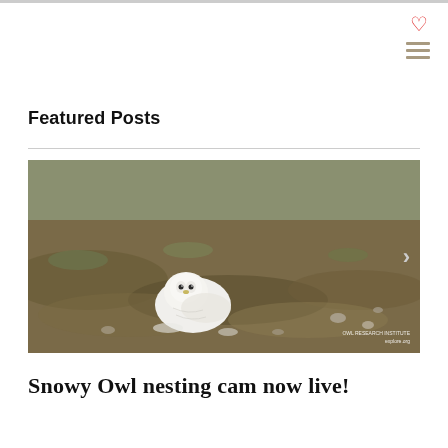Featured Posts
[Figure (photo): A white snowy owl resting on tundra ground covered with brown and olive grass and rocks. The owl is nestled low, facing slightly left. Watermark reads 'OWL RESEARCH INSTITUTE explore.org' in the bottom right corner. A right-pointing chevron arrow is visible on the right side.]
Snowy Owl nesting cam now live!